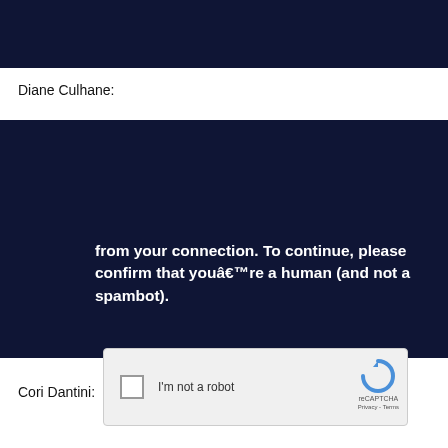[Figure (screenshot): Dark navy banner at top of page]
Diane Culhane:
[Figure (screenshot): Dark navy screenshot showing a CAPTCHA verification screen with text 'from your connection. To continue, please confirm that youâ€™re a human (and not a spambot).' and a reCAPTCHA 'I'm not a robot' checkbox widget]
Cori Dantini: